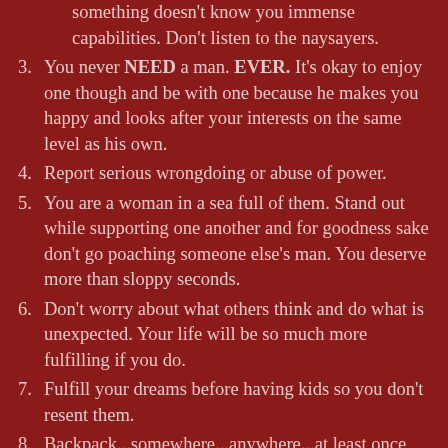(continuation) something doesn't know you immense capabilities. Don't listen to the naysayers.
3. You never NEED a man. EVER. It's okay to enjoy one though and be with one because he makes you happy and looks after your interests on the same level as his own.
4. Report serious wrongdoing or abuse of power.
5. You are a woman in a sea full of them. Stand out while supporting one another and for goodness sake don't go poaching someone else's man. You deserve more than sloppy seconds.
6. Don't worry about what others think and do what is unexpected. Your life will be so much more fulfilling if you do.
7. Fulfill your dreams before having kids so you don't resent them.
8. Backpack...somewhere...anywhere...at least once